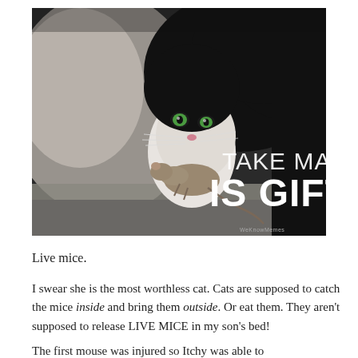[Figure (photo): A black and white tuxedo cat holding a mouse in its mouth, photographed outdoors. Text overlay reads 'TAKE MAUS IS GIFT' in white sans-serif font. Watermark reads 'WeKnowMemes' in bottom right corner.]
Live mice.
I swear she is the most worthless cat. Cats are supposed to catch the mice inside and bring them outside. Or eat them. They aren't supposed to release LIVE MICE in my son's bed!
The first mouse was injured so Itchy was able to